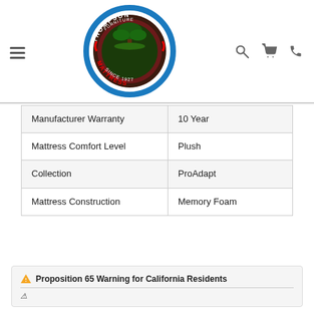Thompson Furniture Mattress Since 1927 — navigation header with logo, hamburger menu, search, cart, and phone icons
| Manufacturer Warranty | 10 Year |
| Mattress Comfort Level | Plush |
| Collection | ProAdapt |
| Mattress Construction | Memory Foam |
Proposition 65 Warning for California Residents